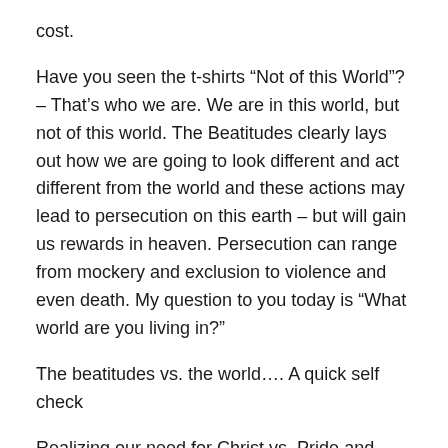cost.
Have you seen the t-shirts “Not of this World”? – That’s who we are. We are in this world, but not of this world. The Beatitudes clearly lays out how we are going to look different and act different from the world and these actions may lead to persecution on this earth – but will gain us rewards in heaven. Persecution can range from mockery and exclusion to violence and even death. My question to you today is “What world are you living in?”
The beatitudes vs. the world…. A quick self check
Realizing our need for Christ vs. Pride and personal independence
Mourning vs. Happiness at any cost